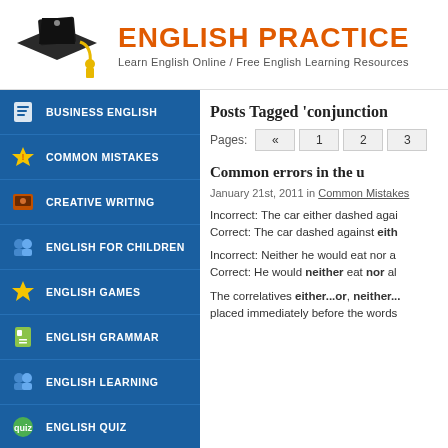[Figure (logo): Graduation cap icon with yellow tassel on white background]
ENGLISH PRACTICE
Learn English Online / Free English Learning Resources
BUSINESS ENGLISH
COMMON MISTAKES
CREATIVE WRITING
ENGLISH FOR CHILDREN
ENGLISH GAMES
ENGLISH GRAMMAR
ENGLISH LEARNING
ENGLISH QUIZ
Posts Tagged 'conjunction
Pages: « 1 2 3
Common errors in the u
January 21st, 2011 in Common Mistakes
Incorrect: The car either dashed agai
Correct: The car dashed against eith
Incorrect: Neither he would eat nor a
Correct: He would neither eat nor al
The correlatives either...or, neither...
placed immediately before the words